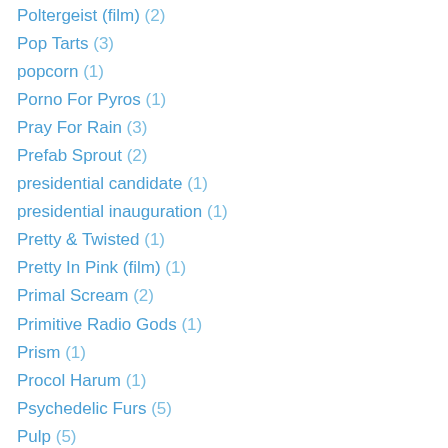Poltergeist (film) (2)
Pop Tarts (3)
popcorn (1)
Porno For Pyros (1)
Pray For Rain (3)
Prefab Sprout (2)
presidential candidate (1)
presidential inauguration (1)
Pretty & Twisted (1)
Pretty In Pink (film) (1)
Primal Scream (2)
Primitive Radio Gods (1)
Prism (1)
Procol Harum (1)
Psychedelic Furs (5)
Pulp (5)
puppet regime (1)
puppets (1)
Q102 (4)
Q95 (2)